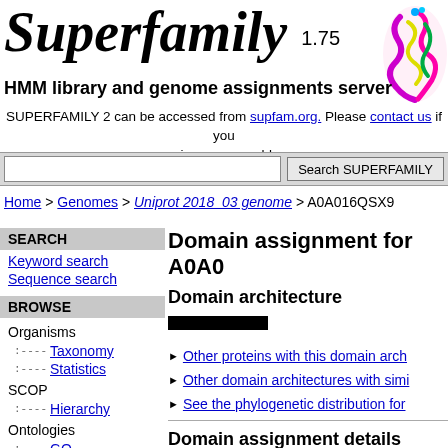Superfamily 1.75
HMM library and genome assignments server
SUPERFAMILY 2 can be accessed from supfam.org. Please contact us if you experience any problems.
Search SUPERFAMILY
Home > Genomes > Uniprot 2018_03 genome > A0A016QSX9
SEARCH
Keyword search
Sequence search
BROWSE
Organisms
Taxonomy
Statistics
SCOP
Hierarchy
Ontologies
GO
Domain assignment for A0A0
Domain architecture
Other proteins with this domain arch
Other domain architectures with simi
See the phylogenetic distribution for
Domain assignment details